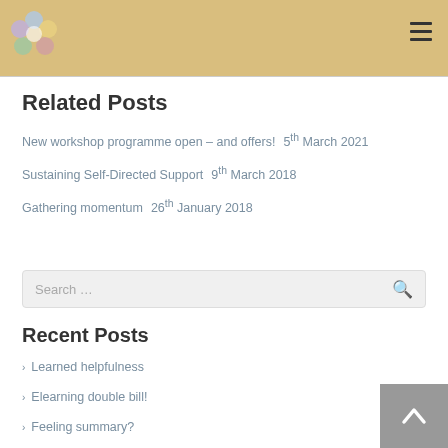Related Posts
New workshop programme open – and offers!   5th March 2021
Sustaining Self-Directed Support   9th March 2018
Gathering momentum   26th January 2018
Search ...
Recent Posts
Learned helpfulness
Elearning double bill!
Feeling summary?